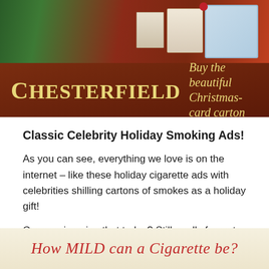[Figure (photo): Vintage Chesterfield cigarette advertisement showing a Christmas holiday scene with the text 'CHESTERFIELD Buy the beautiful Christmas-card carton' on a dark red/brown background with festive imagery.]
Classic Celebrity Holiday Smoking Ads!
As you can see, everything we love is on the internet – like these holiday cigarette ads with celebrities shilling cartons of smokes as a holiday gift!
Can you imagine that today? Still, really funny to see these classic ads pop up – and there are tons of ads showing celebs shilling smokes all year long as well, like this one with John Wayne:
[Figure (photo): Bottom portion of a vintage cigarette advertisement with red script text reading 'How MILD can a Cigarette be?' on a cream/beige background.]